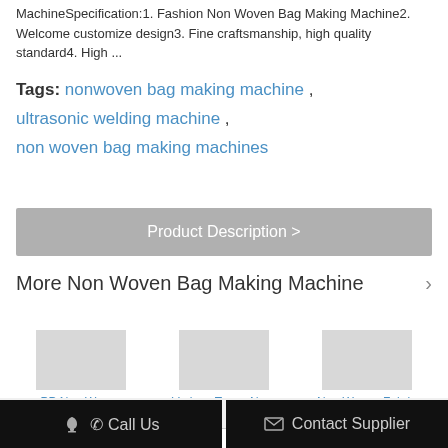MachineSpecification:1. Fashion Non Woven Bag Making Machine2. Welcome customize design3. Fine craftsmanship, high quality standard4. High ...
Tags: nonwoven bag making machine , ultrasonic welding machine , non woven bag making machines
Product Description >
More Non Woven Bag Making Machine
PP Non Woven Shopping Bags...
Various Types Non-woven Fab...
Non Woven Fabric Bag...
Change Language
Select Language
Call Us
Contact Supplier